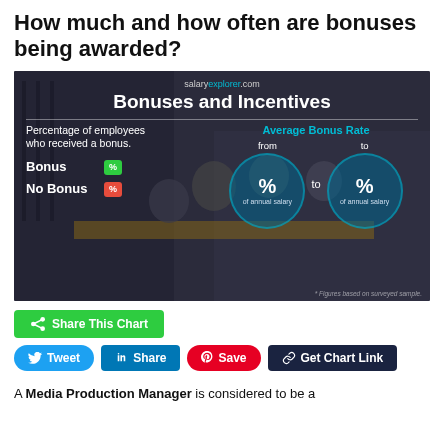How much and how often are bonuses being awarded?
[Figure (infographic): Bonuses and Incentives infographic from salaryexplorer.com showing percentage of employees who received a bonus with Bonus % and No Bonus % badges, and Average Bonus Rate circles showing 'from % to % of annual salary']
Share This Chart
Tweet  Share  Save  Get Chart Link
A Media Production Manager is considered to be a